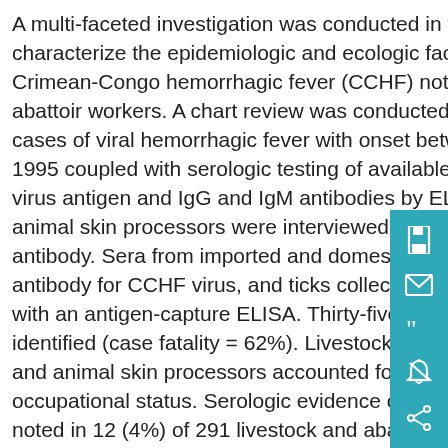A multi-faceted investigation was conducted in the United Arab Emirates to characterize the epidemiologic and ecologic factors underlying an outbreak of Crimean-Congo hemorrhagic fever (CCHF) noted in November 1994 among abattoir workers. A chart review was conducted among hospitalized suspected cases of viral hemorrhagic fever with onset between January 1994 and March 1995 coupled with serologic testing of available specimens for the presence of virus antigen and IgG and IgM antibodies by ELISA. Livestock handlers and animal skin processors were interviewed and tested for the presence of IgG antibody. Sera from imported and domestic ruminants were examined for antibody for CCHF virus, and ticks collected from these animals were tested with an antigen-capture ELISA. Thirty-five suspect cases of CCHF were identified (case fatality = 62%). Livestock market employees, abattoir workers, and animal skin processors accounted for 16 (57%) of 28 cases with known occupational status. Serologic evidence of past asymptomatic infection was noted in 12 (4%) of 291 livestock and abattoir workers but in none of the controls. Nineteen (7%) of 268 animals were positive for CCHF virus antibodies by ELISA including 12 ruminants from Somalia and Iran and five indigenous camels. One Hyalomma